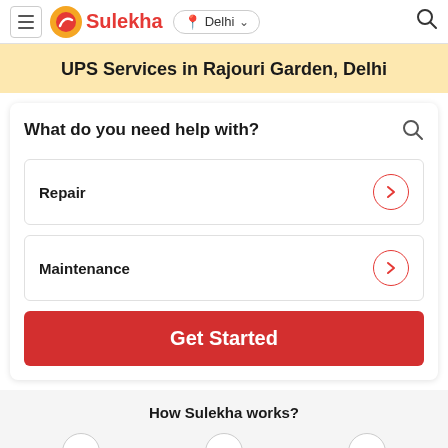Sulekha — Delhi
UPS Services in Rajouri Garden, Delhi
What do you need help with?
Repair
Maintenance
Get Started
How Sulekha works?
1 Share your requirement With
2 Get Multiple quotes from
3 Compare, Hire & Get Hassle Free Service